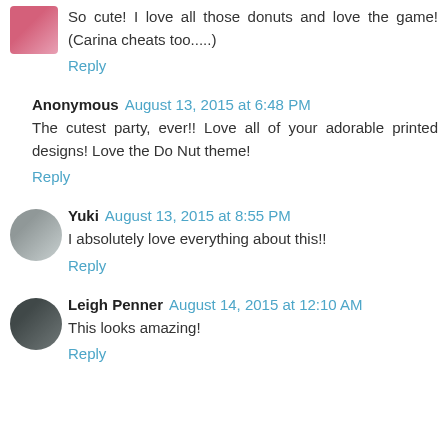So cute! I love all those donuts and love the game! (Carina cheats too.....)
Reply
Anonymous  August 13, 2015 at 6:48 PM
The cutest party, ever!! Love all of your adorable printed designs! Love the Do Nut theme!
Reply
Yuki  August 13, 2015 at 8:55 PM
I absolutely love everything about this!!
Reply
Leigh Penner  August 14, 2015 at 12:10 AM
This looks amazing!
Reply